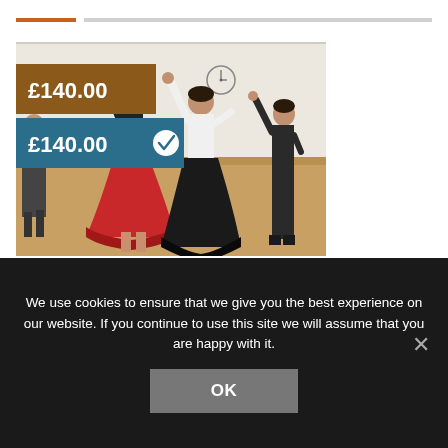[Figure (photo): Women dancing flamenco in a dance studio. Three dancers are visible in full, one in a red tiered skirt and black top, one in white top and black skirt, one in all black. The studio has a wooden floor and white walls. Price overlays show £140.00 in brown box and £140.00 with checkmark in teal box.]
We use cookies to ensure that we give you the best experience on our website. If you continue to use this site we will assume that you are happy with it.
OK